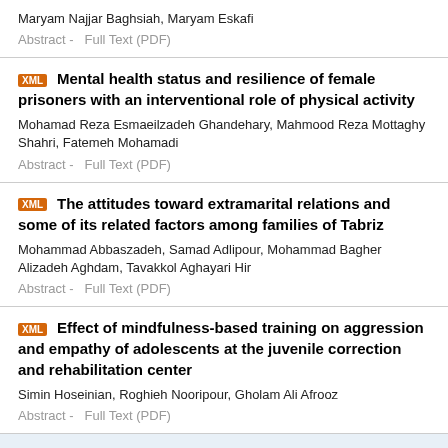Maryam Najjar Baghsiah, Maryam Eskafi
Abstract -  Full Text (PDF)
Mental health status and resilience of female prisoners with an interventional role of physical activity
Mohamad Reza Esmaeilzadeh Ghandehary, Mahmood Reza Mottaghy Shahri, Fatemeh Mohamadi
Abstract -  Full Text (PDF)
The attitudes toward extramarital relations and some of its related factors among families of Tabriz
Mohammad Abbaszadeh, Samad Adlipour, Mohammad Bagher Alizadeh Aghdam, Tavakkol Aghayari Hir
Abstract -  Full Text (PDF)
Effect of mindfulness-based training on aggression and empathy of adolescents at the juvenile correction and rehabilitation center
Simin Hoseinian, Roghieh Nooripour, Gholam Ali Afrooz
Abstract -  Full Text (PDF)